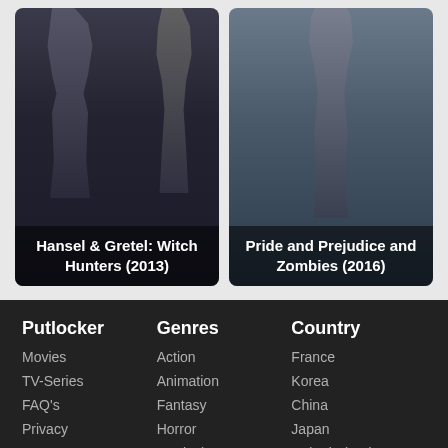[Figure (photo): Movie poster for Hansel & Gretel: Witch Hunters (2013) showing two dark-clad action figures]
Hansel & Gretel: Witch Hunters (2013)
[Figure (photo): Movie poster for Pride and Prejudice and Zombies (2016) showing a cloaked figure]
Pride and Prejudice and Zombies (2016)
Putlocker
Movies
TV-Series
FAQ's
Privacy
DMCA
T&C
Genres
Action
Animation
Fantasy
Horror
Musical
Romance
Country
France
Korea
China
Japan
United Kingdom
United States
Putlocker is a free movies streaming website with a big database such as Action, Comedy, Shooting, Sport, History, Thriller,etc. lots of great features and beautifuly layout. With